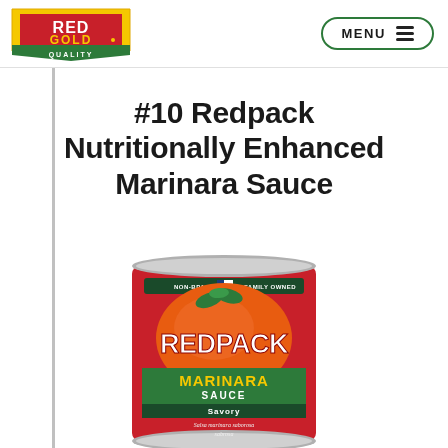Red Gold Quality | MENU
#10 Redpack Nutritionally Enhanced Marinara Sauce
[Figure (photo): A large #10 can of Redpack Marinara Sauce with red label, NON-BPA LINER and FAMILY OWNED badges at top, Redpack brand name, Marinara Sauce in green banner, Savory variety, and small Italian text at bottom.]